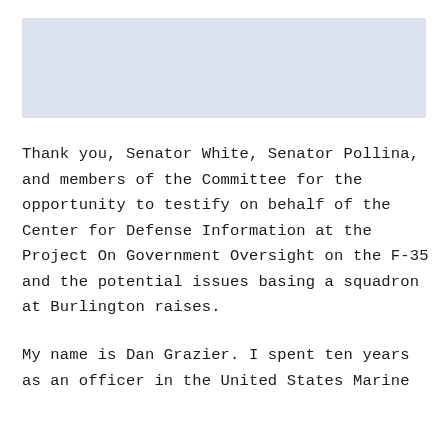[Figure (other): Light blue/grey rectangular header image area at the top of the page]
Thank you, Senator White, Senator Pollina, and members of the Committee for the opportunity to testify on behalf of the Center for Defense Information at the Project On Government Oversight on the F-35 and the potential issues basing a squadron at Burlington raises.
My name is Dan Grazier. I spent ten years as an officer in the United States Marine